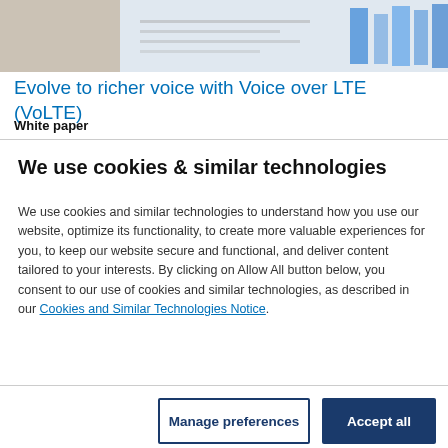[Figure (photo): Partial screenshot of a Nokia webpage showing charts and documents with blue accents (top banner image).]
Evolve to richer voice with Voice over LTE (VoLTE)
White paper
We use cookies & similar technologies
We use cookies and similar technologies to understand how you use our website, optimize its functionality, to create more valuable experiences for you, to keep our website secure and functional, and deliver content tailored to your interests. By clicking on Allow All button below, you consent to our use of cookies and similar technologies, as described in our Cookies and Similar Technologies Notice.
Manage preferences
Accept all
Press Release
Nokia and Vodafone Qatar deploy virtualized applications for core network modernization